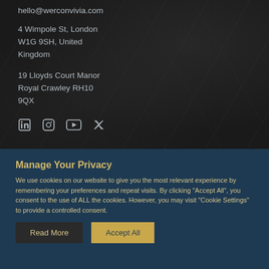hello@werconvivia.com
4 Wimpole St, London W1G 9SH, United Kingdom
19 Lloyds Court Manor Royal Crawley RH10 9QX
[Figure (infographic): Social media icons: LinkedIn, Instagram, YouTube, Twitter]
Manage Your Privacy
We use cookies on our website to give you the most relevant experience by remembering your preferences and repeat visits. By clicking "Accept All", you consent to the use of ALL the cookies. However, you may visit "Cookie Settings" to provide a controlled consent.
Read More
Accept All